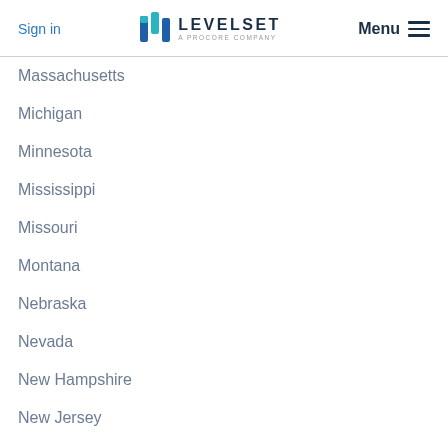Sign in | LEVELSET A PROCORE COMPANY | Menu
Massachusetts
Michigan
Minnesota
Mississippi
Missouri
Montana
Nebraska
Nevada
New Hampshire
New Jersey
New Mexico
New York
North Carolina